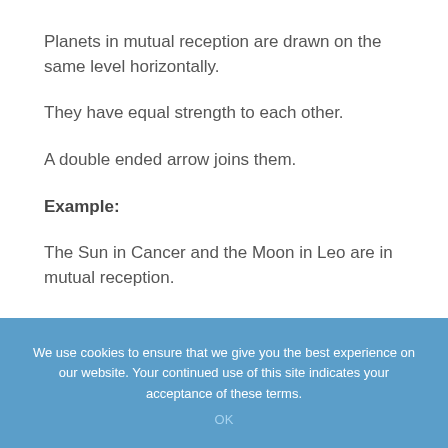Planets in mutual reception are drawn on the same level horizontally.
They have equal strength to each other.
A double ended arrow joins them.
Example:
The Sun in Cancer and the Moon in Leo are in mutual reception.
We use cookies to ensure that we give you the best experience on our website. Your continued use of this site indicates your acceptance of these terms.